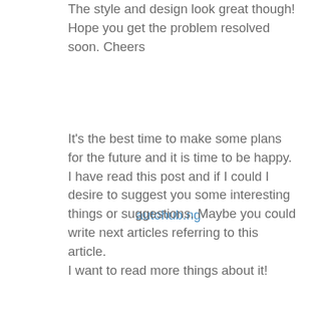The style and design look great though! Hope you get the problem resolved soon. Cheers
autohub.ng
It's the best time to make some plans for the future and it is time to be happy. I have read this post and if I could I desire to suggest you some interesting things or suggestions. Maybe you could write next articles referring to this article.
I want to read more things about it!